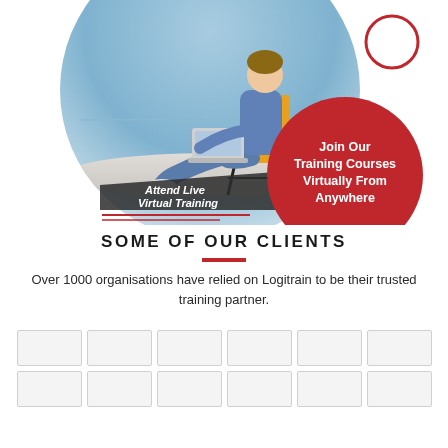[Figure (illustration): Promotional banner showing a person sitting in a chair with a laptop against a light blue circular background. A dark semi-transparent banner reads 'Attend Live Virtual Training' and a red circle reads 'Join Our Training Courses Virtually From Anywhere'. A small red circle outline is in the top right.]
SOME OF OUR CLIENTS
Over 1000 organisations have relied on Logitrain to be their trusted training partner.
[Figure (illustration): A grid of client logo placeholder boxes arranged in two rows of six boxes each.]